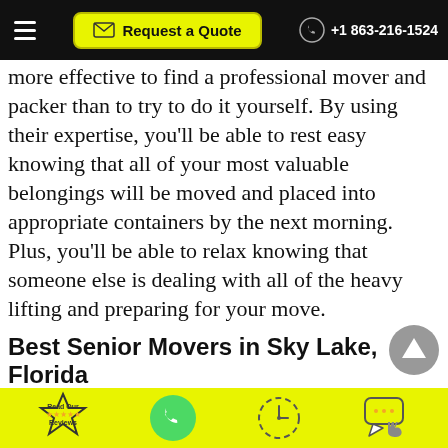Request a Quote  +1 863-216-1524
more effective to find a professional mover and packer than to try to do it yourself. By using their expertise, you'll be able to rest easy knowing that all of your most valuable belongings will be moved and placed into appropriate containers by the next morning. Plus, you'll be able to relax knowing that someone else is dealing with all of the heavy lifting and preparing for your move.
Best Senior Movers in Sky Lake, Florida
Another benefit of using a relocation and downsizing
Read Our Reviews | Phone | Schedule | Chat